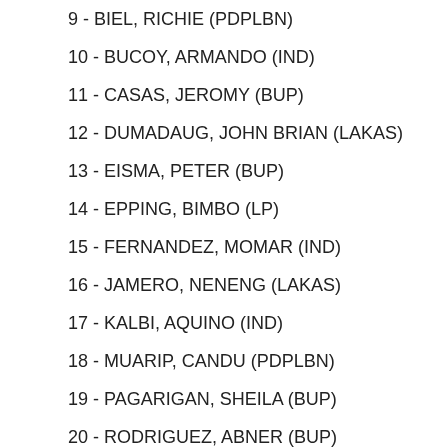9 - BIEL, RICHIE (PDPLBN)
10 - BUCOY, ARMANDO (IND)
11 - CASAS, JEROMY (BUP)
12 - DUMADAUG, JOHN BRIAN (LAKAS)
13 - EISMA, PETER (BUP)
14 - EPPING, BIMBO (LP)
15 - FERNANDEZ, MOMAR (IND)
16 - JAMERO, NENENG (LAKAS)
17 - KALBI, AQUINO (IND)
18 - MUARIP, CANDU (PDPLBN)
19 - PAGARIGAN, SHEILA (BUP)
20 - RODRIGUEZ, ABNER (BUP)
21 - RUBIA, RAMON (IND)